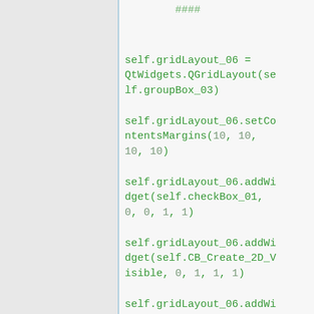####
self.gridLayout_06 = QtWidgets.QGridLayout(self.groupBox_03)
self.gridLayout_06.setContentsMargins(10, 10, 10, 10)
self.gridLayout_06.addWidget(self.checkBox_01, 0, 0, 1, 1)
self.gridLayout_06.addWidget(self.CB_Create_2D_Visible, 0, 1, 1, 1)
self.gridLayout_06.addWidget(self.CB_Colorer, 0, 2, 1, 1)
self.gridLayout_06.addWidg...